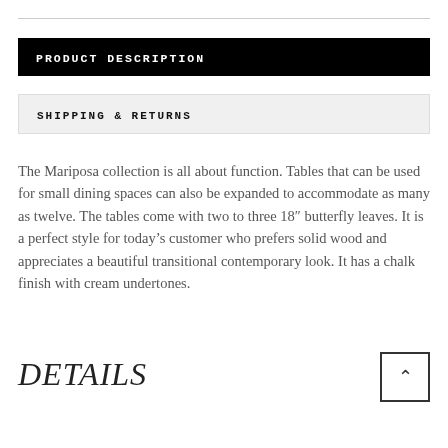PRODUCT DESCRIPTION
SHIPPING & RETURNS
The Mariposa collection is all about function. Tables that can be used for small dining spaces can also be expanded to accommodate as many as twelve. The tables come with two to three 18″ butterfly leaves. It is a perfect style for today’s customer who prefers solid wood and appreciates a beautiful transitional contemporary look. It has a chalk finish with cream undertones.
DETAILS